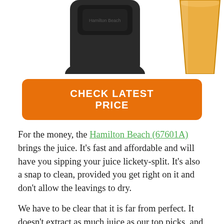[Figure (photo): Partial view of a Hamilton Beach juicer (dark/black body) and a glass of orange juice on white background]
CHECK LATEST PRICE
For the money, the Hamilton Beach (67601A) brings the juice. It’s fast and affordable and will have you sipping your juice lickety-split. It’s also a snap to clean, provided you get right on it and don’t allow the leavings to dry.
We have to be clear that it is far from perfect. It doesn’t extract as much juice as our top picks, and boy, is it loud. But for what you pay for it, it delivers the best overall for-dollar value of the